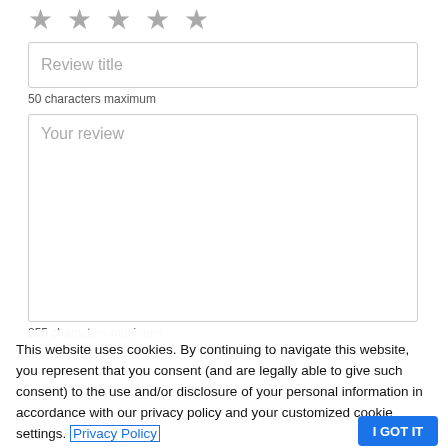[Figure (other): Five empty star rating icons in a row]
Review title
50 characters maximum
Your review
255 characters maximum
Your name (optional)
This website uses cookies. By continuing to navigate this website, you represent that you consent (and are legally able to give such consent) to the use and/or disclosure of your personal information in accordance with our privacy policy and your customized cookie settings. Privacy Policy